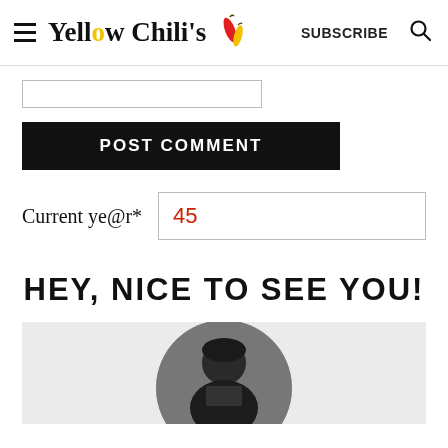Yellow Chili's  SUBSCRIBE
[Figure (screenshot): Input box (text field, empty)]
POST COMMENT
Current ye@r*  45
HEY, NICE TO SEE YOU!
[Figure (photo): Black and white circular portrait photo of a person]